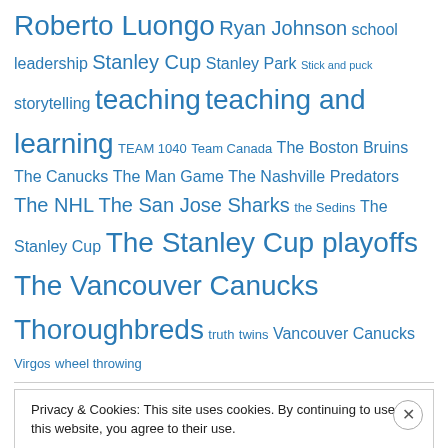Roberto Luongo Ryan Johnson school leadership Stanley Cup Stanley Park Stick and puck storytelling teaching teaching and learning TEAM 1040 Team Canada The Boston Bruins The Canucks The Man Game The Nashville Predators The NHL The San Jose Sharks the Sedins The Stanley Cup The Stanley Cup playoffs The Vancouver Canucks Thoroughbreds truth twins Vancouver Canucks Virgos wheel throwing
Privacy & Cookies: This site uses cookies. By continuing to use this website, you agree to their use. To find out more, including how to control cookies, see here: Cookie Policy
Close and accept